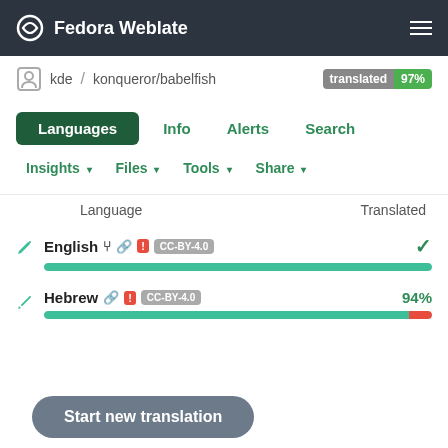Fedora Weblate
kde / konqueror/babelfish  translated 97%
Languages  Info  Alerts  Search
Insights  Files  Tools  Share
|  | Language | Translated |
| --- | --- | --- |
|  | English [branch] [link] [!] CC-BY-4.0 | ✓ |
|  | Hebrew [link] [!] CC-BY-4.0 | 94% |
Start new translation